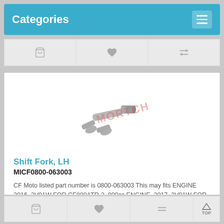Categories
[Figure (photo): Photo of a metal shift fork part (LH), a forked mechanical component used in transmissions. Watermark text 'MORTCH' overlaid in semi-transparent red.]
Shift Fork, LH
MICF0800-063003
CF Moto listed part number is 0800-063003 This may fits ENGINE 2016 2V91W FOR CF800ATR-2 800cc ENGINE 2017 2V91W FOR C..
$10.00